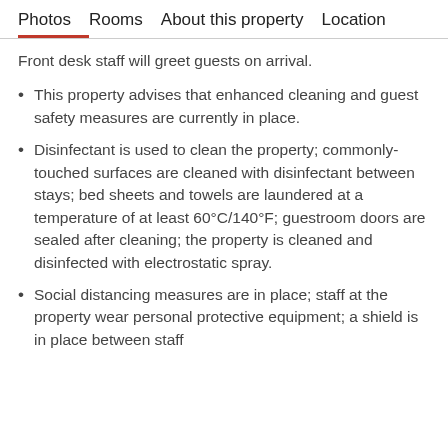Photos  Rooms  About this property  Location
Front desk staff will greet guests on arrival.
This property advises that enhanced cleaning and guest safety measures are currently in place.
Disinfectant is used to clean the property; commonly-touched surfaces are cleaned with disinfectant between stays; bed sheets and towels are laundered at a temperature of at least 60°C/140°F; guestroom doors are sealed after cleaning; the property is cleaned and disinfected with electrostatic spray.
Social distancing measures are in place; staff at the property wear personal protective equipment; a shield is in place between staff